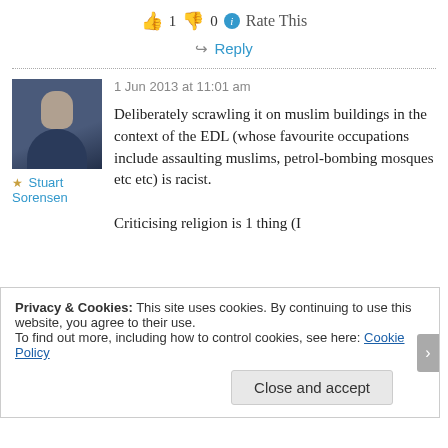👍 1 👎 0 ℹ Rate This
↪ Reply
[Figure (photo): Avatar photo of Stuart Sorensen, a middle-aged man with a grey beard wearing a dark shirt]
★ Stuart Sorensen
1 Jun 2013 at 11:01 am
Deliberately scrawling it on muslim buildings in the context of the EDL (whose favourite occupations include assaulting muslims, petrol-bombing mosques etc etc) is racist.

Criticising religion is 1 thing (I
Privacy & Cookies: This site uses cookies. By continuing to use this website, you agree to their use.
To find out more, including how to control cookies, see here: Cookie Policy
Close and accept